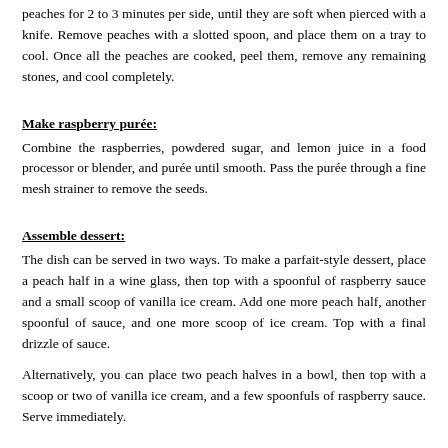overlapping (depending on the size of your pan, you may need to cook just a few at a time, then repeat with the remaining peaches). Simmer the peaches for 2 to 3 minutes per side, until they are soft when pierced with a knife. Remove peaches with a slotted spoon, and place them on a tray to cool. Once all the peaches are cooked, peel them, remove any remaining stones, and cool completely.
Make raspberry purée:
Combine the raspberries, powdered sugar, and lemon juice in a food processor or blender, and purée until smooth. Pass the purée through a fine mesh strainer to remove the seeds.
Assemble dessert:
The dish can be served in two ways. To make a parfait-style dessert, place a peach half in a wine glass, then top with a spoonful of raspberry sauce and a small scoop of vanilla ice cream. Add one more peach half, another spoonful of sauce, and one more scoop of ice cream. Top with a final drizzle of sauce.
Alternatively, you can place two peach halves in a bowl, then top with a scoop or two of vanilla ice cream, and a few spoonfuls of raspberry sauce. Serve immediately.